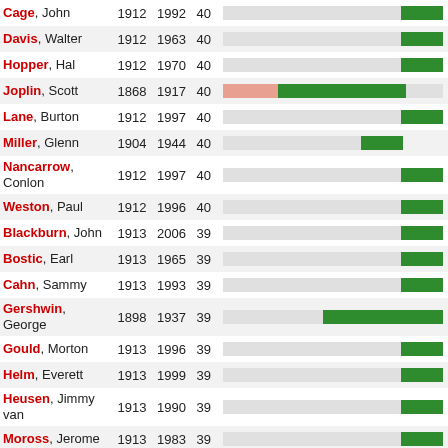| Name | Born | Died | Score | Bar |
| --- | --- | --- | --- | --- |
| Cage, John | 1912 | 1992 | 40 | bar |
| Davis, Walter | 1912 | 1963 | 40 | bar |
| Hopper, Hal | 1912 | 1970 | 40 | bar |
| Joplin, Scott | 1868 | 1917 | 40 | bar-salmon+green |
| Lane, Burton | 1912 | 1997 | 40 | bar |
| Miller, Glenn | 1904 | 1944 | 40 | bar |
| Nancarrow, Conlon | 1912 | 1997 | 40 | bar |
| Weston, Paul | 1912 | 1996 | 40 | bar |
| Blackburn, John | 1913 | 2006 | 39 | bar |
| Bostic, Earl | 1913 | 1965 | 39 | bar |
| Cahn, Sammy | 1913 | 1993 | 39 | bar |
| Gershwin, George | 1898 | 1937 | 39 | bar |
| Gould, Morton | 1913 | 1996 | 39 | bar |
| Helm, Everett | 1913 | 1999 | 39 | bar |
| Heusen, Jimmy van | 1913 | 1990 | 39 | bar |
| Moross, Jerome | 1913 | 1983 | 39 | bar |
| Waller, Fats | 1904 | 1943 | 39 | bar |
| Burke, Sonny | 1914 | 1980 | 39 | bar |